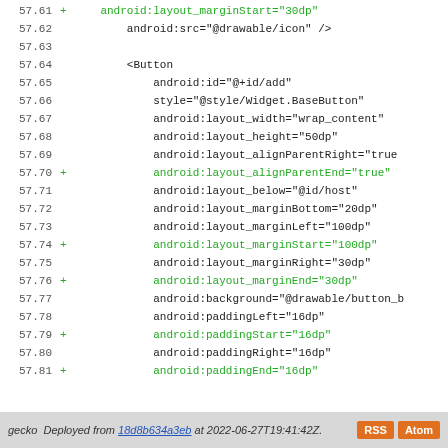[Figure (screenshot): Code viewer showing Android XML layout file lines 57.61–57.89 with line numbers, diff markers (+) in green for new lines, and black/green monospace code text]
gecko  Deployed from 18d8b634a3eb at 2022-06-27T19:41:42Z.  RSS  Atom